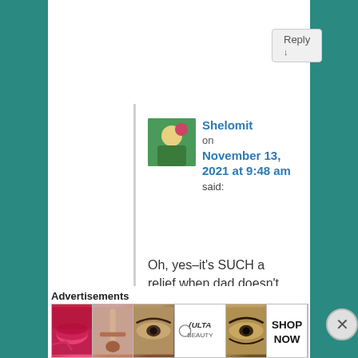Reply ↓
Shelomit on November 13, 2021 at 9:48 am said:
Oh, yes–it's SUCH a relief when dad doesn't stand in the way!
★ Like
Advertisements